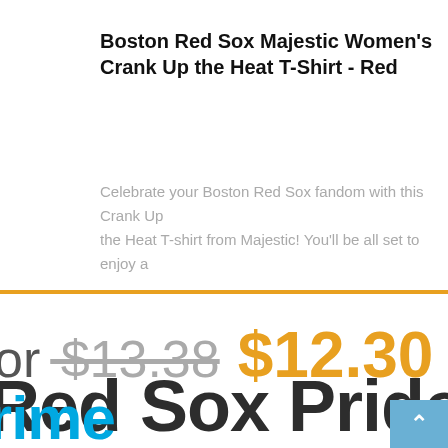Boston Red Sox Majestic Women's Crank Up the Heat T-Shirt - Red
Celebrate your Boston Red Sox fandom with this Crank Up the Heat T-shirt from Majestic! You'll be all set to enjoy a
or $13.38 $12.30
Red Sox Pride Bas
rime